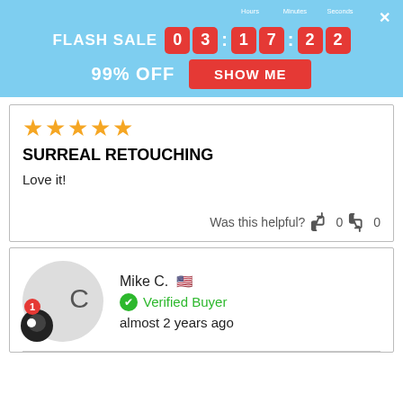[Figure (screenshot): Flash sale banner with countdown timer showing 03:17:22, 99% OFF text, and a red SHOW ME button on a light blue background]
[Figure (other): Five gold stars rating]
SURREAL RETOUCHING
Love it!
Was this helpful? 👍 0 👎 0
[Figure (other): Reviewer avatar for Mike C. with circular gray avatar, chat icon with badge showing 1]
Mike C. 🇺🇸
✔ Verified Buyer
almost 2 years ago